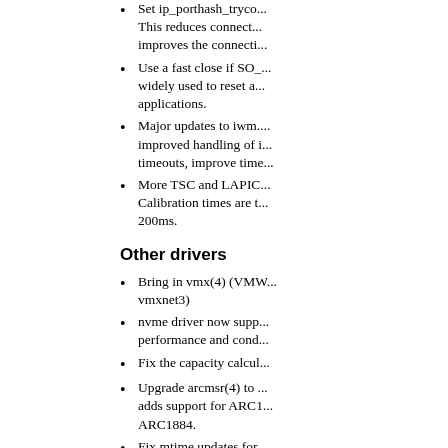Set ip_porthash_tryco... This reduces connect... improves the connecti...
Use a fast close if SO_... widely used to reset a... applications.
Major updates to iwm.... improved handling of i... timeouts, improve time...
More TSC and LAPIC... Calibration times are t... 200ms.
Other drivers
Bring in vmx(4) (VMW... vmxnet3)
nvme driver now supp... performance and cond...
Fix the capacity calcul...
Upgrade arcmsr(4) to ... adds support for ARC1... ARC1884.
Fix mtime updates for... mmap()s. This bug co... to get confused, often... R+W mmap().
Fix a vclean() assertio... TMPFS.
...compatibility...